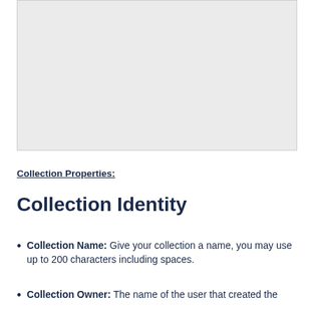[Figure (screenshot): A large light gray rectangular area representing a screenshot or image placeholder.]
Collection Properties:
Collection Identity
Collection Name: Give your collection a name, you may use up to 200 characters including spaces.
Collection Owner: The name of the user that created the